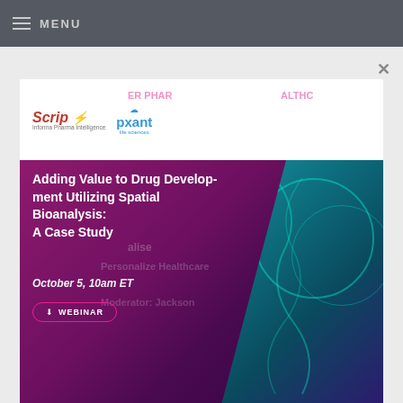MENU
[Figure (screenshot): Webinar advertisement popup for 'Adding Value to Drug Development Utilizing Spatial Bioanalysis: A Case Study' webinar on October 5, 10am ET. Features Scrip and Pxant logos on white header, purple background with DNA helix image on right, and a WEBINAR button.]
Register
Report Store
Sitetrove
Trialtrove